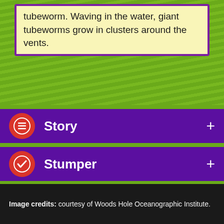tubeworm. Waving in the water, giant tubeworms grow in clusters around the vents.
Story
Stumper
Fact or Fiction
Fact or Fiction
Image credits: courtesy of Woods Hole Oceanographic Institute.